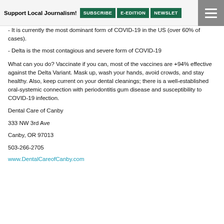Support Local Journalism! SUBSCRIBE E-EDITION NEWSLET
- It is currently the most dominant form of COVID-19 in the US (over 60% of cases).
- Delta is the most contagious and severe form of COVID-19
What can you do? Vaccinate if you can, most of the vaccines are +94% effective against the Delta Variant. Mask up, wash your hands, avoid crowds, and stay healthy. Also, keep current on your dental cleanings; there is a well-established oral-systemic connection with periodontitis gum disease and susceptibility to COVID-19 infection.
Dental Care of Canby
333 NW 3rd Ave
Canby, OR 97013
503-266-2705
www.DentalCareofCanby.com